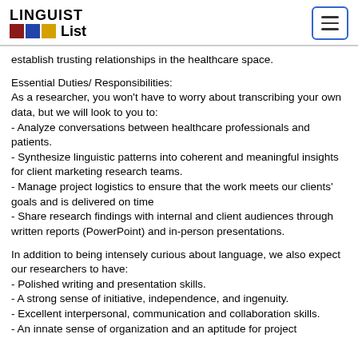LINGUIST List
establish trusting relationships in the healthcare space.
Essential Duties/ Responsibilities:
As a researcher, you won't have to worry about transcribing your own data, but we will look to you to:
- Analyze conversations between healthcare professionals and patients.
- Synthesize linguistic patterns into coherent and meaningful insights for client marketing research teams.
- Manage project logistics to ensure that the work meets our clients' goals and is delivered on time
- Share research findings with internal and client audiences through written reports (PowerPoint) and in-person presentations.
In addition to being intensely curious about language, we also expect our researchers to have:
- Polished writing and presentation skills.
- A strong sense of initiative, independence, and ingenuity.
- Excellent interpersonal, communication and collaboration skills.
- An innate sense of organization and an aptitude for project...